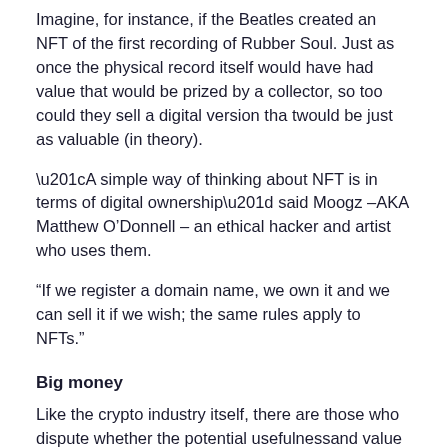Imagine, for instance, if the Beatles created an NFT of the first recording of Rubber Soul. Just as once the physical record itself would have had value that would be prized by a collector, so too could they sell a digital version tha twould be just as valuable (in theory).
“A simple way of thinking about NFT is in terms of digital ownership” said Moogz –AKA Matthew O’Donnell – an ethical hacker and artist who uses them.
“If we register a domain name, we own it and we can sell it if we wish; the same rules apply to NFTs.”
Big money
Like the crypto industry itself, there are those who dispute whether the potential usefulnessand value of NFTs are being somewhat overstated. But the fact remains that people are prepared to pay huge amounts for them.